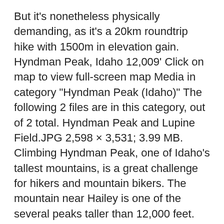But it's nonetheless physically demanding, as it's a 20km roundtrip hike with 1500m in elevation gain. Hyndman Peak, Idaho 12,009' Click on map to view full-screen map Media in category "Hyndman Peak (Idaho)" The following 2 files are in this category, out of 2 total. Hyndman Peak and Lupine Field.JPG 2,598 × 3,531; 3.99 MB. Climbing Hyndman Peak, one of Idaho's tallest mountains, is a great challenge for hikers and mountain bikers. The mountain near Hailey is one of the several peaks taller than 12,000 feet.
At 12,009 feet, Hyndman Peak barely makes the cut as an Idaho 12er. Old Hyndman Peak, at 11,775 feet (3,589 m) above sea level is the eighth-highest peak in the Pioneer Mountains of the U.S. state of Idaho. The peak is located on the border of